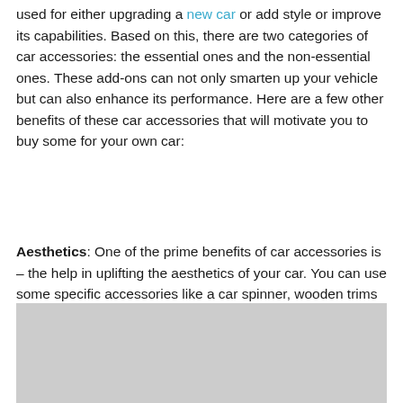used for either upgrading a new car or add style or improve its capabilities. Based on this, there are two categories of car accessories: the essential ones and the non-essential ones. These add-ons can not only smarten up your vehicle but can also enhance its performance. Here are a few other benefits of these car accessories that will motivate you to buy some for your own car:
Aesthetics: One of the prime benefits of car accessories is – the help in uplifting the aesthetics of your car. You can use some specific accessories like a car spinner, wooden trims on dash board, head light lashes, etc
[Figure (photo): A gray placeholder image block at the bottom of the page.]